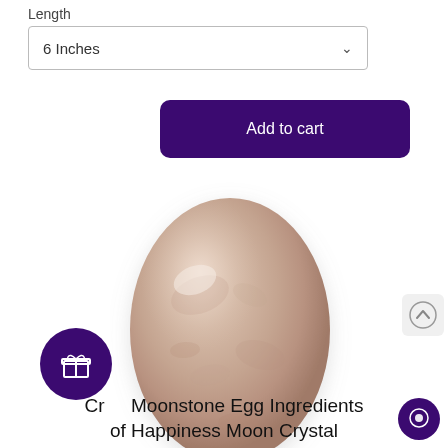Length
6 Inches
Add to cart
[Figure (photo): A polished cream/peach moonstone egg-shaped crystal stone photographed on a white background. The stone has a smooth, glossy surface with subtle mineral patterns in shades of beige and pink.]
[Figure (other): Scroll up circular button with upward arrow icon]
[Figure (other): Purple circular badge with gift box icon]
[Figure (other): Purple circular chat/eye icon button]
Cream Moonstone Egg Ingredients of Happiness Moon Crystal